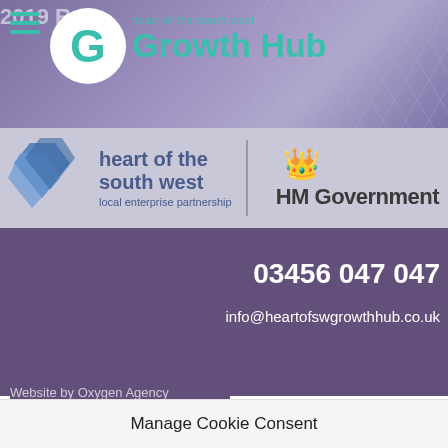[Figure (logo): Heart of the South West Growth Hub logo with teal G circle and teal text on purple geometric background header]
[Figure (logo): Heart of the South West Local Enterprise Partnership logo and HM Government logo on grey bar]
03456 047 047
info@heartofswgrowthhub.co.uk
Website by Oxygen Agency
Manage Cookie Consent